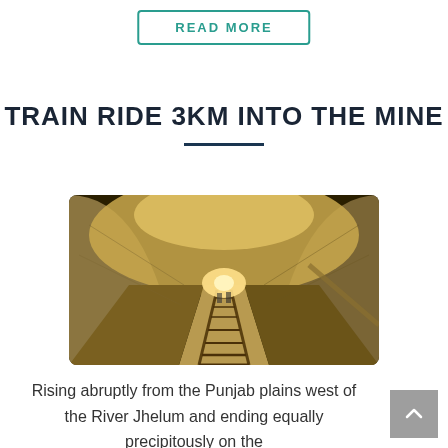READ MORE
TRAIN RIDE 3KM INTO THE MINE
[Figure (photo): Interior of a mine tunnel with railway tracks, arched stone walls illuminated by warm yellow light, perspective view showing depth of tunnel with small figures visible in distance]
Rising abruptly from the Punjab plains west of the River Jhelum and ending equally precipitously on the